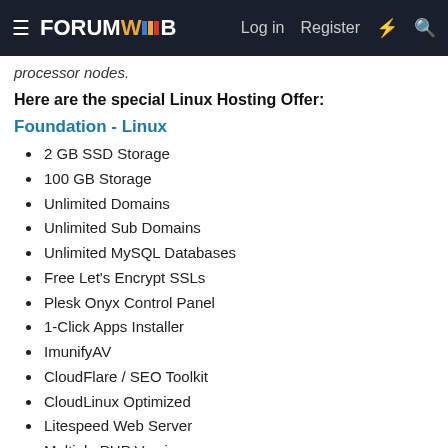FORUMWEB | Log in | Register
processor nodes.
Here are the special Linux Hosting Offer:
Foundation - Linux
2 GB SSD Storage
100 GB Storage
Unlimited Domains
Unlimited Sub Domains
Unlimited MySQL Databases
Free Let's Encrypt SSLs
Plesk Onyx Control Panel
1-Click Apps Installer
ImunifyAV
CloudFlare / SEO Toolkit
CloudLinux Optimized
Litespeed Web Server
Multiple PHP Versions
Free Website Migration